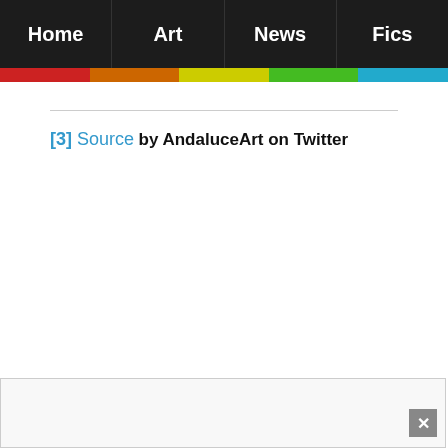Home | Art | News | Fics
[3] Source
by AndaluceArt on Twitter